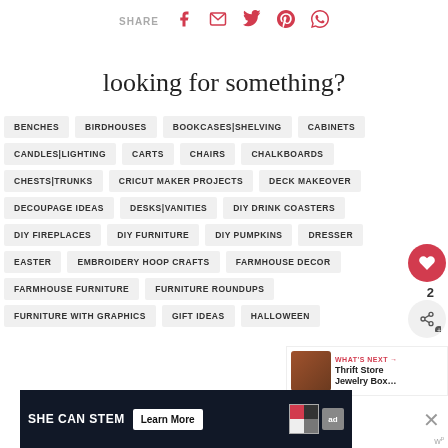SHARE
looking for something?
BENCHES
BIRDHOUSES
BOOKCASES|SHELVING
CABINETS
CANDLES|LIGHTING
CARTS
CHAIRS
CHALKBOARDS
CHESTS|TRUNKS
CRICUT MAKER PROJECTS
DECK MAKEOVER
DECOUPAGE IDEAS
DESKS|VANITIES
DIY DRINK COASTERS
DIY FIREPLACES
DIY FURNITURE
DIY PUMPKINS
DRESSER
EASTER
EMBROIDERY HOOP CRAFTS
FARMHOUSE DECOR
FARMHOUSE FURNITURE
FURNITURE ROUNDUPS
FURNITURE WITH GRAPHICS
GIFT IDEAS
HALLOWEEN
[Figure (other): What's Next promotional box with Thrift Store Jewelry Box image]
[Figure (other): SHE CAN STEM ad banner with Learn More button]